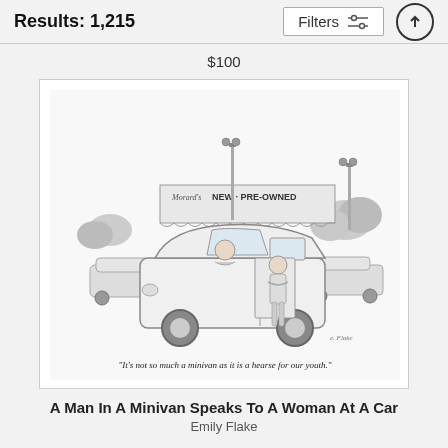Results: 1,215
Filters
$100
[Figure (illustration): A New Yorker-style cartoon showing a car dealership lot with a 'NEW · PRE-OWNED' banner. A man is seated in a minivan while a woman stands outside it, arms crossed. Other cars are visible in the background. Caption reads: "It's not so much a minivan as it is a hearse for our youth."]
"It's not so much a minivan as it is a hearse for our youth."
A Man In A Minivan Speaks To A Woman At A Car
Emily Flake